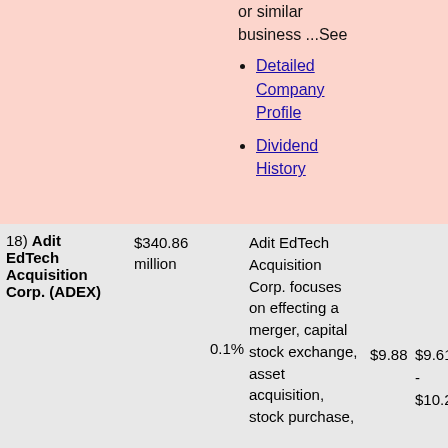or similar business ...See
Detailed Company Profile
Dividend History
| # | Market Cap | Weight | Description | Price | 52-Week Range |
| --- | --- | --- | --- | --- | --- |
| 18) Adit EdTech Acquisition Corp. (ADEX) | $340.86 million | 0.1% | Adit EdTech Acquisition Corp. focuses on effecting a merger, capital stock exchange, asset acquisition, stock purchase, | $9.88 | $9.61 - $10.24 |